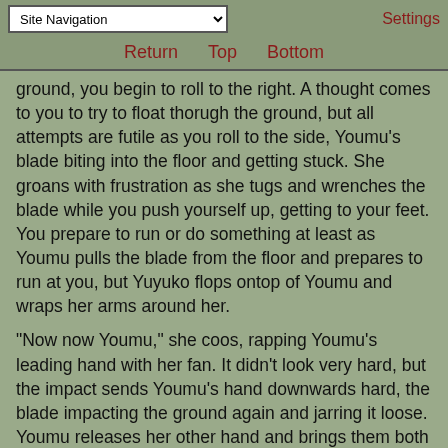Site Navigation | Settings
Return  Top  Bottom
ground, you begin to roll to the right. A thought comes to you to try to float thorugh the ground, but all attempts are futile as you roll to the side, Youmu's blade biting into the floor and getting stuck. She groans with frustration as she tugs and wrenches the blade while you push yourself up, getting to your feet. You prepare to run or do something at least as Youmu pulls the blade from the floor and prepares to run at you, but Yuyuko flops ontop of Youmu and wraps her arms around her.
"Now now Youmu," she coos, rapping Youmu's leading hand with her fan. It didn't look very hard, but the impact sends Youmu's hand downwards hard, the blade impacting the ground again and jarring it loose. Youmu releases her other hand and brings them both up to Yuyuko's arms, seeming to struggle for a few moments before giving up as tears stream from her eyes. She turns around and buries her face in Yuyuko's chest, starting to sob hard while Yuyuko